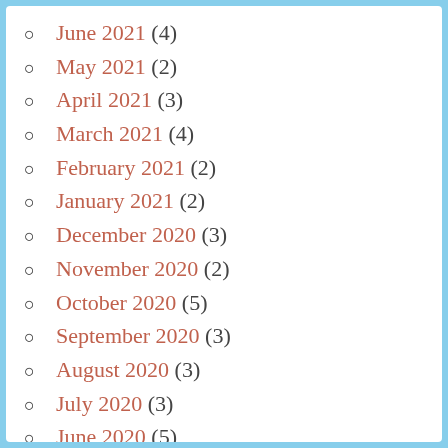June 2021 (4)
May 2021 (2)
April 2021 (3)
March 2021 (4)
February 2021 (2)
January 2021 (2)
December 2020 (3)
November 2020 (2)
October 2020 (5)
September 2020 (3)
August 2020 (3)
July 2020 (3)
June 2020 (5)
May 2020 (7)
April 2020 (4)
March 2020 (?)